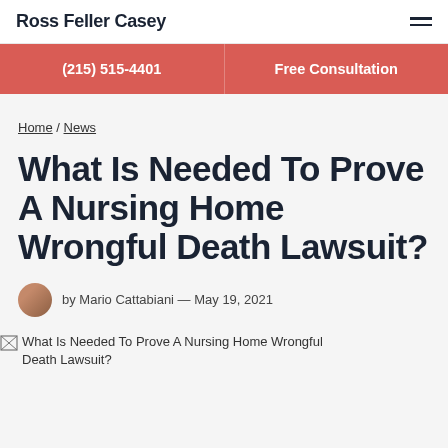Ross Feller Casey
(215) 515-4401 | Free Consultation
Home / News
What Is Needed To Prove A Nursing Home Wrongful Death Lawsuit?
by Mario Cattabiani — May 19, 2021
[Figure (photo): Broken image placeholder for article hero image: What Is Needed To Prove A Nursing Home Wrongful Death Lawsuit?]